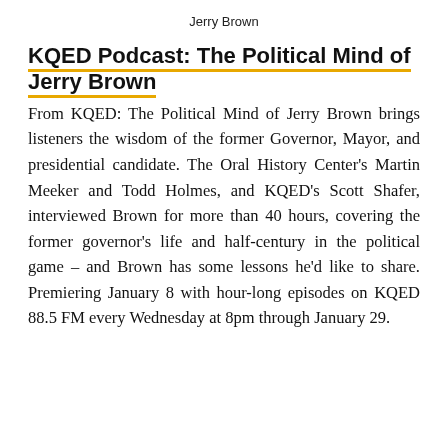Jerry Brown
KQED Podcast: The Political Mind of Jerry Brown
From KQED: The Political Mind of Jerry Brown brings listeners the wisdom of the former Governor, Mayor, and presidential candidate. The Oral History Center’s Martin Meeker and Todd Holmes, and KQED’s Scott Shafer, interviewed Brown for more than 40 hours, covering the former governor’s life and half-century in the political game – and Brown has some lessons he’d like to share. Premiering January 8 with hour-long episodes on KQED 88.5 FM every Wednesday at 8pm through January 29.